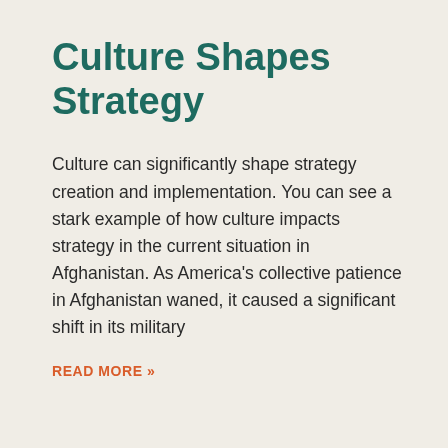Culture Shapes Strategy
Culture can significantly shape strategy creation and implementation. You can see a stark example of how culture impacts strategy in the current situation in Afghanistan. As America’s collective patience in Afghanistan waned, it caused a significant shift in its military
READ MORE »